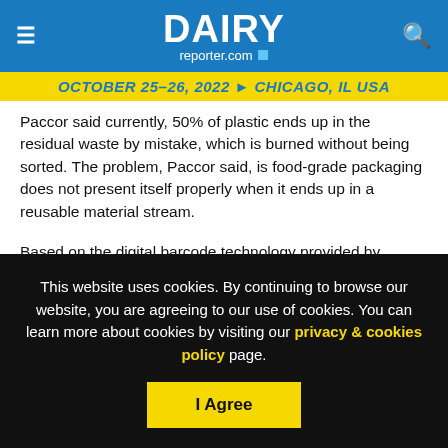DAIRY reporter.com
October 25-26, 2022 → Chicago, IL USA
Paccor said currently, 50% of plastic ends up in the residual waste by mistake, which is burned without being sorted. The problem, Paccor said, is food-grade packaging does not present itself properly when it ends up in a reusable material stream.
Based on the digital barcode technology provided by Digimarc Corporation, Paccor introduced a solution allowing customers to use the Digimarc Barcode directly on the surface of rigid…
This website uses cookies. By continuing to browse our website, you are agreeing to our use of cookies. You can learn more about cookies by visiting our privacy & cookies policy page.
I Agree